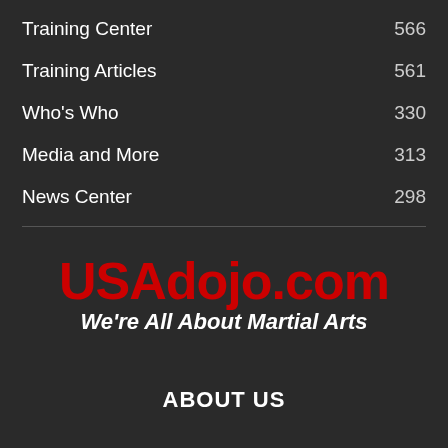Training Center 566
Training Articles 561
Who's Who 330
Media and More 313
News Center 298
[Figure (logo): USAdojo.com logo in red bold text with tagline 'We're All About Martial Arts' in white italic below]
ABOUT US